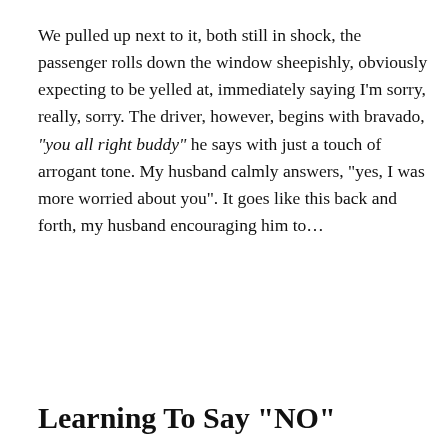We pulled up next to it, both still in shock, the passenger rolls down the window sheepishly, obviously expecting to be yelled at, immediately saying I'm sorry, really, sorry.  The driver, however, begins with bravado, “you all right buddy” he says with just a touch of arrogant tone.  My husband calmly answers, “yes, I was more worried about you”. It goes like this back and forth, my husband encouraging him to…
Continue Reading...
Learning To Say "NO"